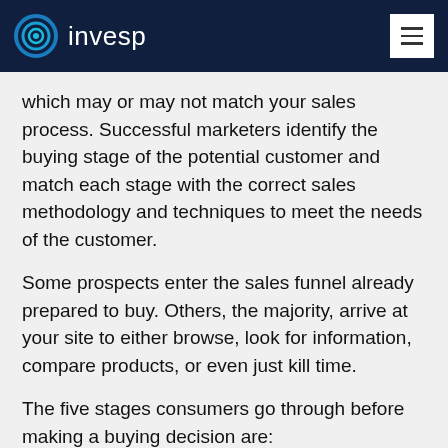invesp
which may or may not match your sales process. Successful marketers identify the buying stage of the potential customer and match each stage with the correct sales methodology and techniques to meet the needs of the customer.
Some prospects enter the sales funnel already prepared to buy. Others, the majority, arrive at your site to either browse, look for information, compare products, or even just kill time.
The five stages consumers go through before making a buying decision are:
Attention stage: Need recognition
Interest stage: Information search